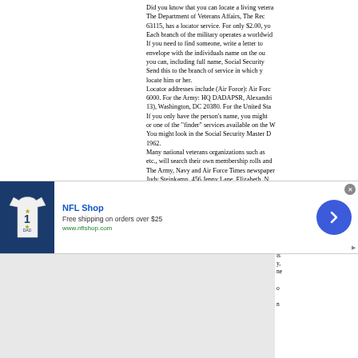Did you know that you can locate a living veteran? The Department of Veterans Affairs, The Rec 63115, has a locator service. For only $2.00, yo Each branch of the military operates a worldwid If you need to find someone, write a letter to envelope with the individuals name on the ou you can, including full name, Social Security Send this to the branch of service in which y locate him or her. Locator addresses include (Air Force): Air Forc 6000. For the Army: HQ DADAPSR, Alexandri 13), Washington, DC 20380. For the United Sta If you only have the person's name, you might or one of the "finder" services available on the W You might look in the Social Security Master D 1962. Many national veterans organizations such as etc., will search their own membership rolls and The Army, Navy and Air Force Times newspaper Judy Steinkamp, 456 Jenny Lane, Elizabeth, N "Brown Betty." Any help, she writes, would be a Are you kin to Daniel Boone? If you are, here a
[Figure (other): NFL Shop advertisement banner with a Dallas Cowboys jersey image, text 'NFL Shop', 'Free shipping on orders over $25', 'www.nflshop.com', a blue circular arrow button, and a close button.]